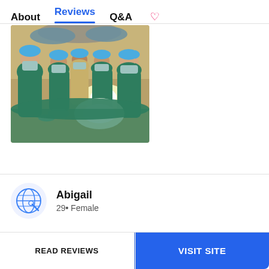About   Reviews   Q&A   ♡
[Figure (photo): Group photo of surgical team in green scrubs and masks in an operating room with bright surgical lights overhead]
Abigail
29 • Female
READ REVIEWS
VISIT SITE